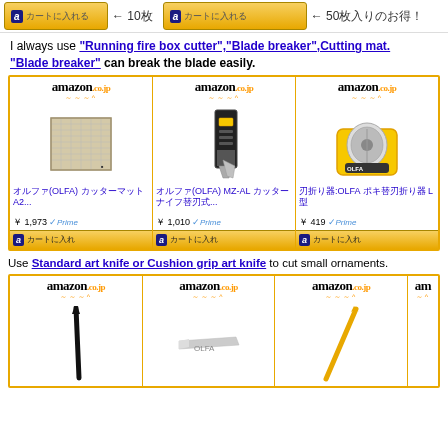[Figure (screenshot): Top bar with Amazon buy buttons and labels '← 10枚' and '← 50枚入りのお得']
I always use "Running fire box cutter","Blade breaker",Cutting mat. "Blade breaker" can break the blade easily.
[Figure (screenshot): Grid of 3 Amazon.co.jp product listings: cutting mat (オルファ A2, ¥1,973 Prime), box cutter (オルファ MZ-AL, ¥1,010 Prime), blade breaker (オルファ:OLFA L型, ¥419 Prime), each with buy buttons]
Use Standard art knife or Cushion grip art knife to cut small ornaments.
[Figure (screenshot): Grid of Amazon.co.jp product listings for art knives (partially visible)]